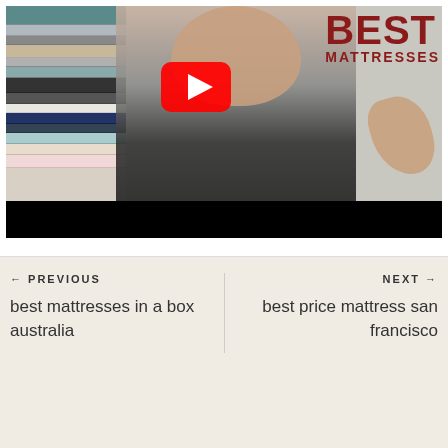[Figure (screenshot): YouTube video thumbnail showing a man in a black Continental t-shirt gesturing with one hand beside a stack of mattresses. Text reads 'BEST MATTRESSES' in large dark red letters. A YouTube play button is overlaid on the image. A black bar appears at the bottom.]
← PREVIOUS
best mattresses in a box australia
NEXT →
best price mattress san francisco